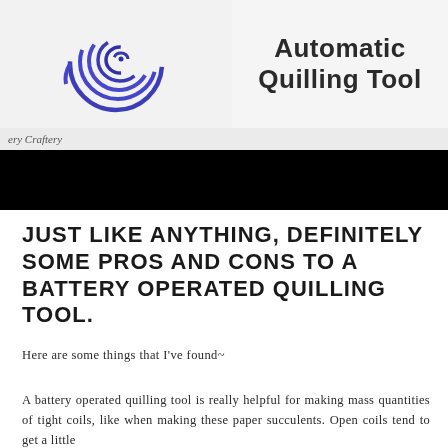[Figure (photo): Blue paper quilling coil spiral on white background (top-left), next to 'Automatic Quilling Tool' title text on light gray background (top-right)]
ery Craftery
[Figure (other): Black horizontal bar / banner]
JUST LIKE ANYTHING, DEFINITELY SOME PROS AND CONS TO A BATTERY OPERATED QUILLING TOOL.
Here are some things that I've found~
A battery operated quilling tool is really helpful for making mass quantities of tight coils, like when making these paper succulents. Open coils tend to get a little